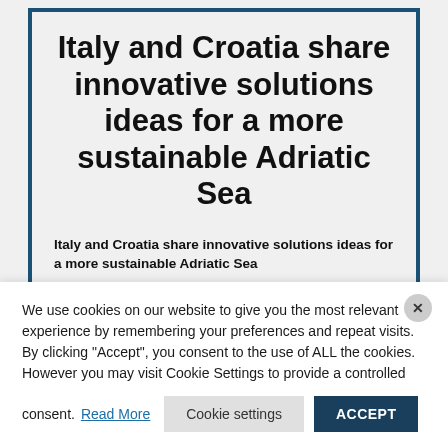Italy and Croatia share innovative solutions ideas for a more sustainable Adriatic Sea
Italy and Croatia share innovative solutions ideas for a more sustainable Adriatic Sea
InnovaMare EU Project partners gathered in Bari: Blue Growth is no longer an option...
We use cookies on our website to give you the most relevant experience by remembering your preferences and repeat visits. By clicking "Accept", you consent to the use of ALL the cookies. However you may visit Cookie Settings to provide a controlled consent.